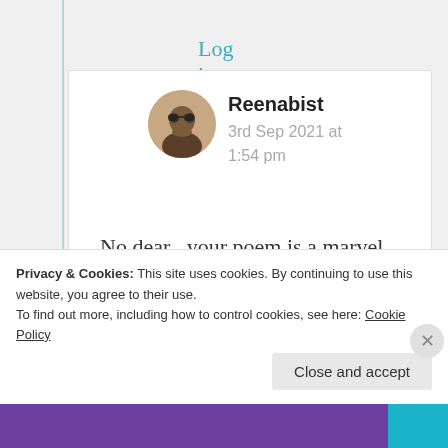Log in to Reply
Reenabist
3rd Sep 2021 at 1:54 pm
No dear , your poem is a marvel,
That's just “poetry begets
Privacy & Cookies: This site uses cookies. By continuing to use this website, you agree to their use.
To find out more, including how to control cookies, see here: Cookie Policy
Close and accept